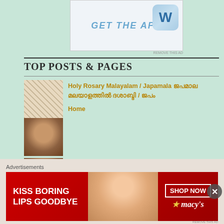[Figure (screenshot): Top advertisement banner with 'GET THE APP' text and WordPress logo]
TOP POSTS & PAGES
Holy Rosary Malayalam / Japamala ജപമാല മലയാളത്തിൽ ദശാബ്ദി / ജപം
Home
ഞായറാഴ്ച പ്രസംഗം: Sunday Homilies / Sunday Sermons: Malayalam, English: Latin / Syro Malanakara / Syro Malabar Margam Kali Pattu - Lyrics
Daily Prayers in Malayalam പ്രാർത്ഥ
[Figure (screenshot): Bottom advertisement banner: KISS BORING LIPS GOODBYE, SHOP NOW, macy's]
Advertisements